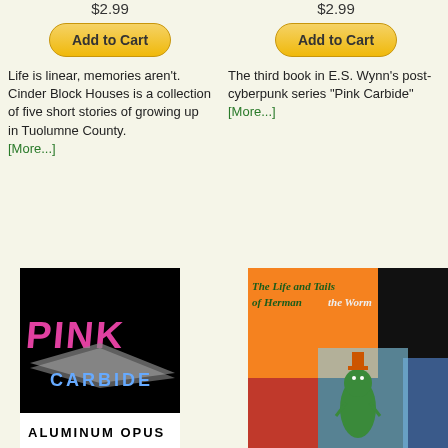$2.99
$2.99
Add to Cart
Add to Cart
Life is linear, memories aren't. Cinder Block Houses is a collection of five short stories of growing up in Tuolumne County. [More...]
The third book in E.S. Wynn's post-cyberpunk series "Pink Carbide" [More...]
[Figure (illustration): Book cover for Pink Carbide: Aluminum Opus, black background with pink and white stylized text 'PINK CARBIDE' and subtitle 'ALUMINUM OPUS']
[Figure (illustration): Book cover for 'The Life and Tails of Herman the Worm' with orange, red and black sections, featuring a cartoon worm character wearing a hat]